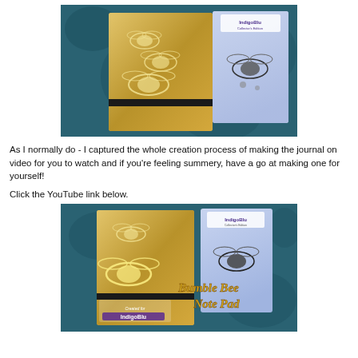[Figure (photo): Photo of a gold bumble bee journal/notepad with foil bee designs, next to an IndigoBlu collector's edition bee stamp set, placed on a teal/blue fabric background.]
As I normally do - I captured the whole creation process of making the journal on video for you to watch and if you're feeling summery, have a go at making one for yourself!
Click the YouTube link below.
[Figure (photo): YouTube video thumbnail showing the same gold bumble bee notepad and IndigoBlu stamp set on teal fabric, with text overlay reading 'Bumble Bee Note Pad' and 'Created for IndigoBlu'.]